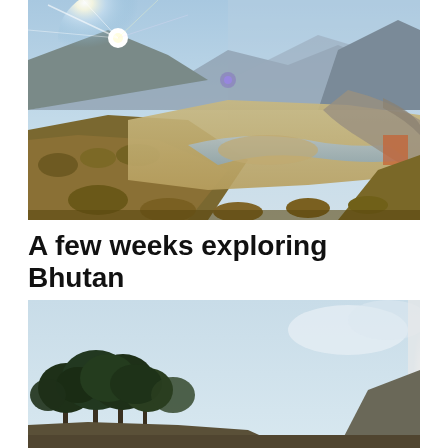[Figure (photo): Panoramic landscape photo of a river valley in Bhutan. The sun is rising or setting with strong lens flare on the left. Mountains are visible in the background under a blue sky. The river curves through a wide sandy/gravelly riverbed. Brown shrubby hillsides in the foreground. A road is visible on the right side.]
A few weeks exploring Bhutan
[Figure (photo): Wide-angle landscape photo of trees and hills in Bhutan under a pale blue sky. Dark green trees are on the left side, and a hill or mountain silhouette is visible on the far right. The sky takes up much of the upper portion of the image.]